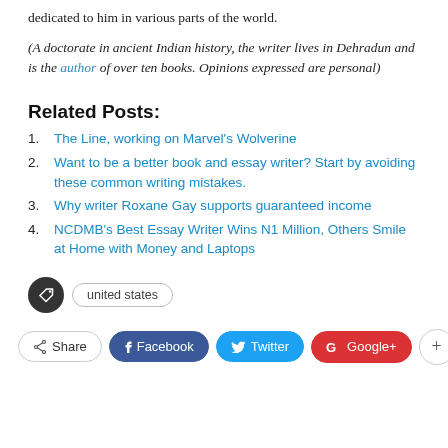dedicated to him in various parts of the world.
(A doctorate in ancient Indian history, the writer lives in Dehradun and is the author of over ten books. Opinions expressed are personal)
Related Posts:
The Line, working on Marvel's Wolverine
Want to be a better book and essay writer? Start by avoiding these common writing mistakes.
Why writer Roxane Gay supports guaranteed income
NCDMB's Best Essay Writer Wins N1 Million, Others Smile at Home with Money and Laptops
united states
Share  Facebook  Twitter  Google+